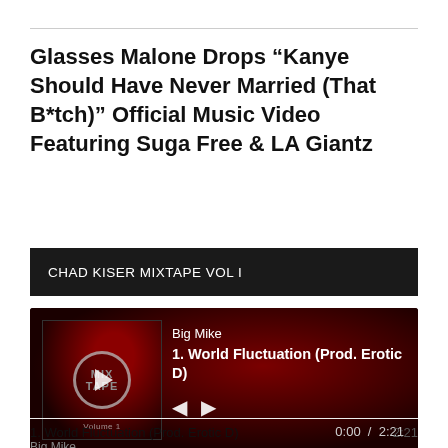Glasses Malone Drops “Kanye Should Have Never Married (That B*tch)” Official Music Video Featuring Suga Free & LA Giantz
CHAD KISER MIXTAPE VOL I
[Figure (screenshot): Audio player widget showing album art with play button overlay for Big Mike - 1. World Fluctuation (Prod. Erotic D), time display 0:00 / 2:21]
1. World Fluctuation (Prod. Erotic D)
Big Mike	2:21